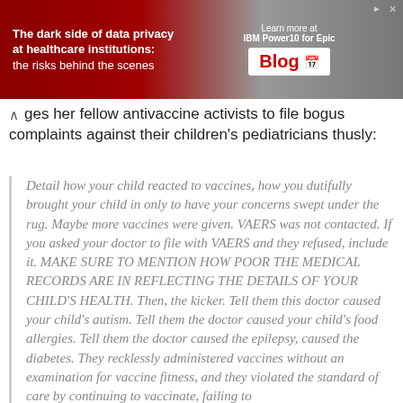[Figure (other): Advertisement banner: 'The dark side of data privacy at healthcare institutions: the risks behind the scenes' with IBM Power10 for Epic Blog promotion]
ges her fellow antivaccine activists to file bogus complaints against their children's pediatricians thusly:
Detail how your child reacted to vaccines, how you dutifully brought your child in only to have your concerns swept under the rug. Maybe more vaccines were given. VAERS was not contacted. If you asked your doctor to file with VAERS and they refused, include it. MAKE SURE TO MENTION HOW POOR THE MEDICAL RECORDS ARE IN REFLECTING THE DETAILS OF YOUR CHILD'S HEALTH. Then, the kicker. Tell them this doctor caused your child's autism. Tell them the doctor caused your child's food allergies. Tell them the doctor caused the epilepsy, caused the diabetes. They recklessly administered vaccines without an examination for vaccine fitness, and they violated the standard of care by continuing to vaccinate, failing to